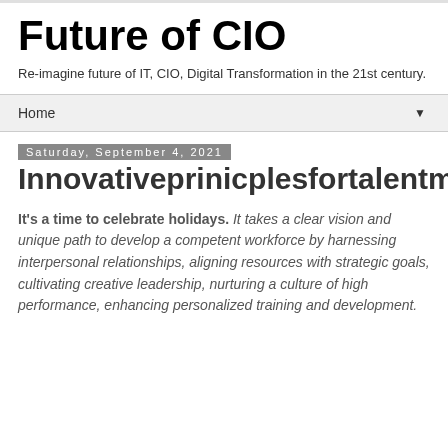Future of CIO
Re-imagine future of IT, CIO, Digital Transformation in the 21st century.
Home ▼
Saturday, September 4, 2021
Innovativeprinicplesfortalentmanagement
It's a time to celebrate holidays. It takes a clear vision and unique path to develop a competent workforce by harnessing interpersonal relationships, aligning resources with strategic goals, cultivating creative leadership, nurturing a culture of high performance, enhancing personalized training and development.